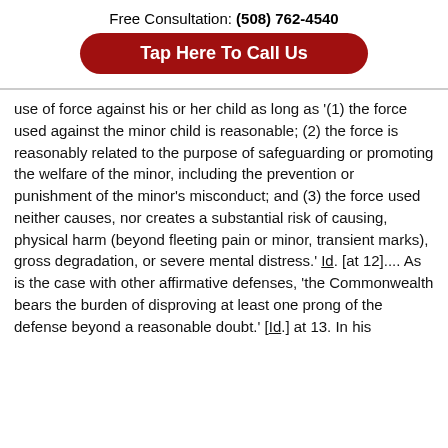Free Consultation: (508) 762-4540
Tap Here To Call Us
use of force against his or her child as long as '(1) the force used against the minor child is reasonable; (2) the force is reasonably related to the purpose of safeguarding or promoting the welfare of the minor, including the prevention or punishment of the minor's misconduct; and (3) the force used neither causes, nor creates a substantial risk of causing, physical harm (beyond fleeting pain or minor, transient marks), gross degradation, or severe mental distress.' Id. [at 12].... As is the case with other affirmative defenses, 'the Commonwealth bears the burden of disproving at least one prong of the defense beyond a reasonable doubt.' [Id.] at 13. In his